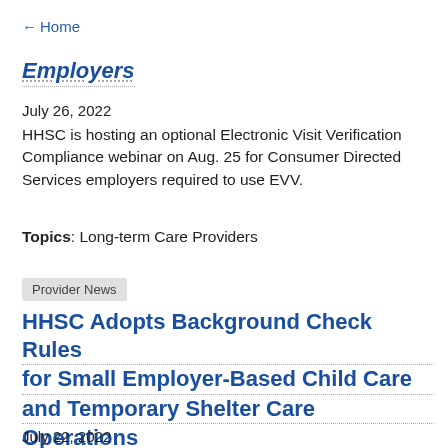← Home
Employers
July 26, 2022
HHSC is hosting an optional Electronic Visit Verification Compliance webinar on Aug. 25 for Consumer Directed Services employers required to use EVV.
Topics: Long-term Care Providers
Provider News
HHSC Adopts Background Check Rules for Small Employer-Based Child Care and Temporary Shelter Care Operations
July 22, 2022